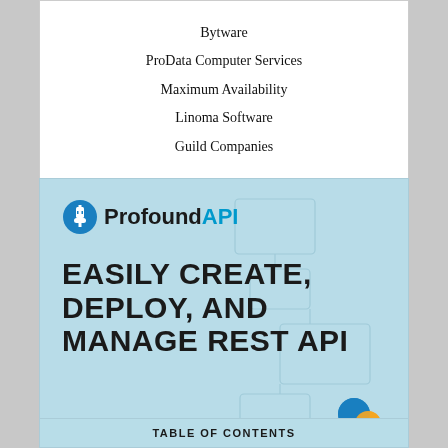Bytware
ProData Computer Services
Maximum Availability
Linoma Software
Guild Companies
[Figure (illustration): ProfoundAPI advertisement. Light blue background with subtle grid/circuit pattern. Top left shows ProfoundAPI logo (plug icon + 'Profound' in dark text + 'API' in blue text). Main text reads 'EASILY CREATE, DEPLOY, AND MANAGE REST API' in large bold black font. Bottom right shows a blue and orange circular logo mark.]
TABLE OF CONTENTS